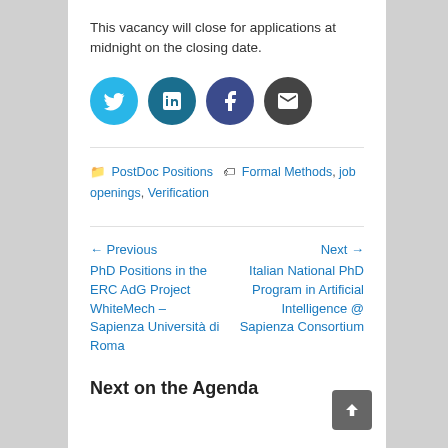This vacancy will close for applications at midnight on the closing date.
[Figure (infographic): Four social sharing icons in circles: Twitter (light blue), LinkedIn (dark teal), Facebook (dark blue), Email (dark grey)]
PostDoc Positions  Formal Methods, job openings, Verification
← Previous PhD Positions in the ERC AdG Project WhiteMech – Sapienza Università di Roma     Next → Italian National PhD Program in Artificial Intelligence @ Sapienza Consortium
Next on the Agenda